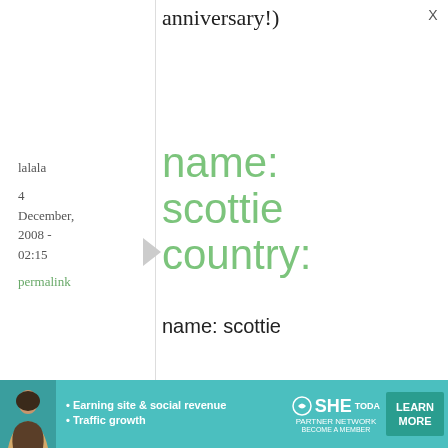anniversary!)
lalala
4 December, 2008 - 02:15
permalink
name: scottie country:
name: scottie
country: canada
I absolutely love Julia Child! Her recipes are so simple and homey
[Figure (other): Advertisement banner for SHE Partner Network - Earning site & social revenue, Traffic growth. Features a woman photo, SHE logo, and LEARN MORE button.]